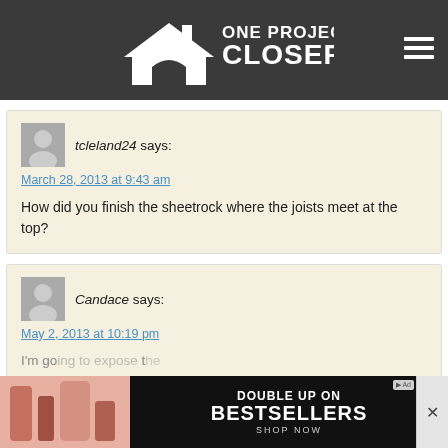[Figure (logo): One Project Closer logo - white house icon with text 'ONE PROJECT CLOSER' on dark grey background, hamburger menu icon top right]
tcleland24 says:
March 28, 2013 at 9:43 am

How did you finish the sheetrock where the joists meet at the top?
Candace says:
May 2, 2013 at 10:19 pm

I'm go... the joists a... paint. I
[Figure (screenshot): NARS advertisement - Double Up On Bestsellers, Shop Now]